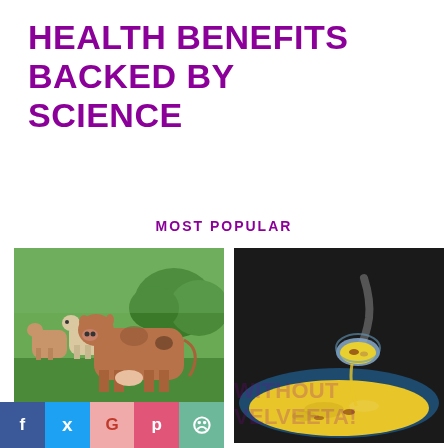HEALTH BENEFITS BACKED BY SCIENCE
MOST POPULAR
[Figure (photo): Herd of brown Jersey cows standing on a green field]
WHERE TO FIND GRASS-FED BUTTER
[Figure (photo): A spoon scooping yellow creamy Mexican cheese dip from a bowl]
CREAMY MEXICAN CHEESE DIP – WITHOUT VELVEETA!
f  🐦  G  p  ⊕